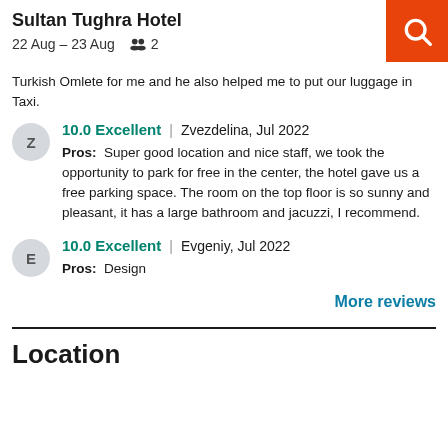Sultan Tughra Hotel | 22 Aug – 23 Aug | 2 guests
Turkish Omlete for me and he also helped me to put our luggage in Taxi.
10.0 Excellent | Zvezdelina, Jul 2022
Pros: Super good location and nice staff, we took the opportunity to park for free in the center, the hotel gave us a free parking space. The room on the top floor is so sunny and pleasant, it has a large bathroom and jacuzzi, I recommend.
10.0 Excellent | Evgeniy, Jul 2022
Pros: Design
More reviews
Location